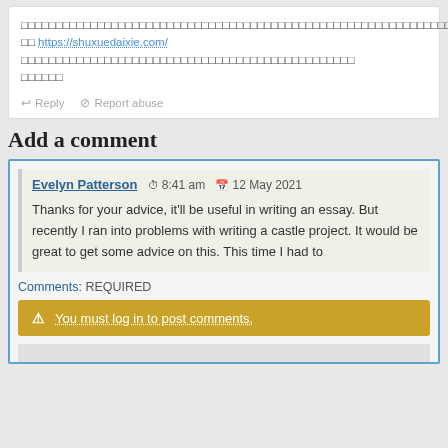□□□□□□□□□□□□□□□□□□□□□□□□□□□□□□□□□□□□□□□□□□□□□□□□□□□□□□□□□□□□□□□□□□□□□ □□ https://shuxuedaixie.com/ □□□□□□□□□□□□□□□□□□□□□□□□□□□□□□□□□□□□□□□□
Reply   Report abuse
Add a comment
Evelyn Patterson   8:41 am   12 May 2021
Thanks for your advice, it'll be useful in writing an essay. But recently I ran into problems with writing a castle project. It would be great to get some advice on this. This time I had to
Comments: REQUIRED
You must log in to post comments.